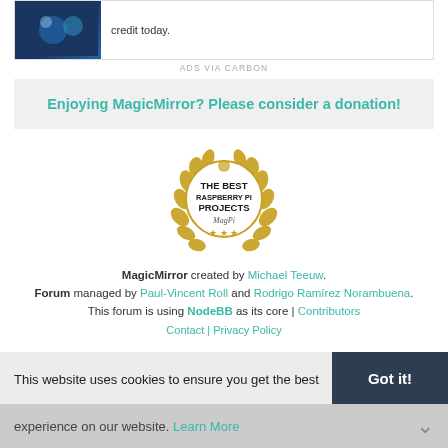[Figure (screenshot): Ad banner showing tech/cloud illustration with text 'credit today.']
ADS VIA CARBON
Enjoying MagicMirror? Please consider a donation!
[Figure (logo): The Best Raspberry Pi Projects badge from The MagPi magazine — circular badge with laurel wreath in gold]
MagicMirror created by Michael Teeuw. Forum managed by Paul-Vincent Roll and Rodrigo Ramírez Norambuena. This forum is using NodeBB as its core | Contributors
Contact | Privacy Policy
This website uses cookies to ensure you get the best experience on our website. Learn More